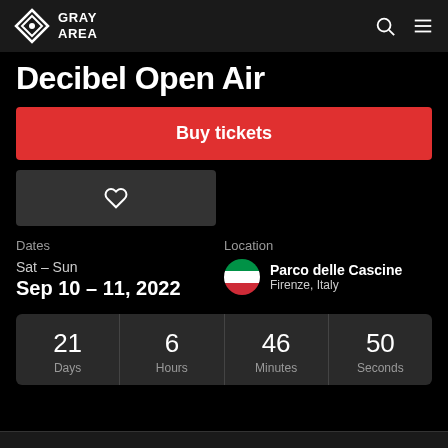GRAY AREA
Decibel Open Air
Buy tickets
Dates
Sat – Sun
Sep 10 – 11, 2022
Location
Parco delle Cascine
Firenze, Italy
21 Days  6 Hours  46 Minutes  50 Seconds